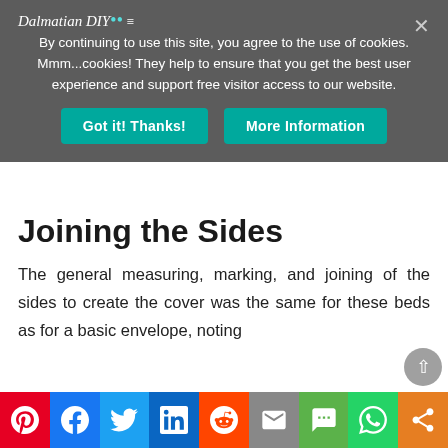Dalmatian DIY
By continuing to use this site, you agree to the use of cookies. Mmm...cookies! They help to ensure that you get the best user experience and support free visitor access to our website.
Got it! Thanks!   More Information
Joining the Sides
The general measuring, marking, and joining of the sides to create the cover was the same for these beds as for a basic envelope, noting